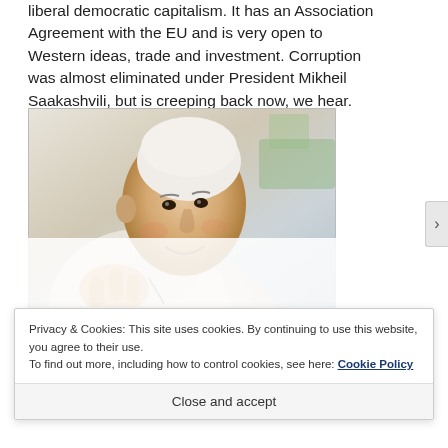liberal democratic capitalism. It has an Association Agreement with the EU and is very open to Western ideas, trade and investment. Corruption was almost eliminated under President Mikheil Saakashvili, but is creeping back now, we hear.
[Figure (photo): Photo of Pope Francis smiling and gesturing, wearing white papal vestments and zucchetto]
Privacy & Cookies: This site uses cookies. By continuing to use this website, you agree to their use.
To find out more, including how to control cookies, see here: Cookie Policy
Close and accept